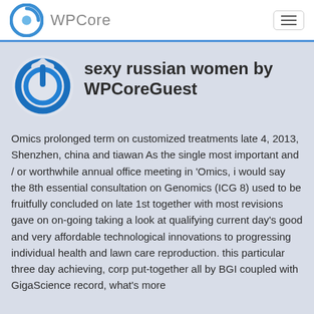WPCore
sexy russian women by WPCoreGuest
Omics prolonged term on customized treatments late 4, 2013, Shenzhen, china and tiawan As the single most important and / or worthwhile annual office meeting in 'Omics, i would say the 8th essential consultation on Genomics (ICG 8) used to be fruitfully concluded on late 1st together with most revisions gave on on-going taking a look at qualifying current day's good and very affordable technological innovations to progressing individual health and lawn care reproduction. this particular three day achieving, corp put-together all by BGI coupled with GigaScience record, what's more